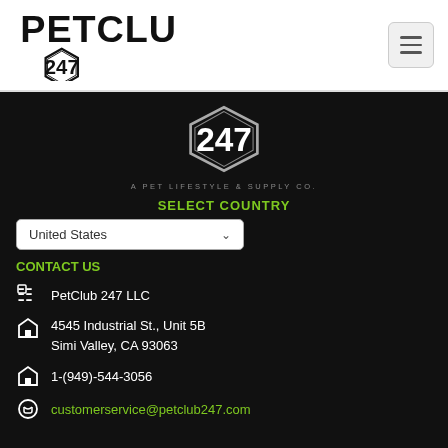[Figure (logo): PetClub 247 logo with bold block text and hexagon badge showing '247']
[Figure (other): Hamburger menu icon button]
[Figure (logo): 247 hexagon badge logo in white outline on dark background]
A PET LIFESTYLE & SUPPLY CO.
SELECT COUNTRY
United States
CONTACT US
PetClub 247 LLC
4545 Industrial St., Unit 5B
Simi Valley, CA 93063
1-(949)-544-3056
customerservice@petclub247.com